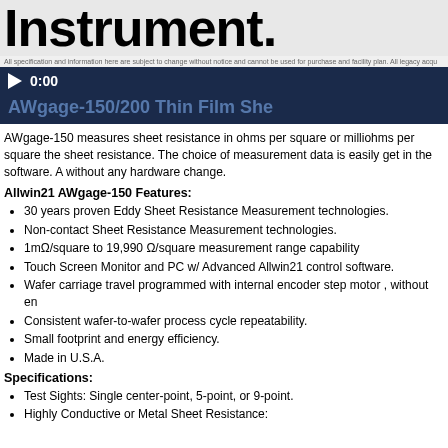Instrument.
All specification and information here are subject to change without notice and cannot be used for purchase and facility plan. All legacy acqu...
[Figure (screenshot): Video player bar showing play button and timestamp 0:00 with dark navy background]
AWgage-150/200 Thin Film She...
AWgage-150 measures sheet resistance in ohms per square or milliohms per square the sheet resistance. The choice of measurement data is easily get in the software. A without any hardware change.
Allwin21 AWgage-150 Features:
30 years proven Eddy Sheet Resistance Measurement technologies.
Non-contact Sheet Resistance Measurement technologies.
1mΩ/square to 19,990 Ω/square measurement range capability
Touch Screen Monitor and PC w/ Advanced Allwin21 control software.
Wafer carriage travel programmed with internal encoder step motor , without en...
Consistent wafer-to-wafer process cycle repeatability.
Small footprint and energy efficiency.
Made in U.S.A.
Specifications:
Test Sights: Single center-point, 5-point, or 9-point.
Highly Conductive or Metal Sheet Resistance: